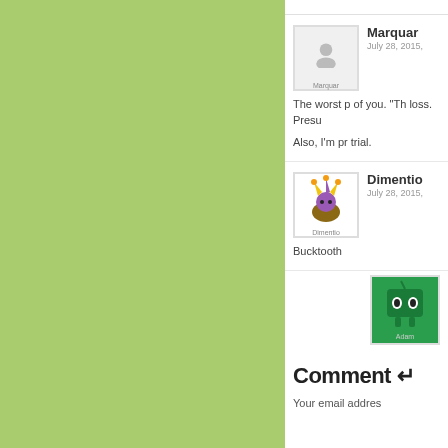[Figure (screenshot): Green sidebar panel on left side of page]
Marquar
July 28, 2015,
The worst p of you. "Th loss. Presu Also, I'm pr trial.
Dimentio
July 28, 2015,
Bucktooth
[Figure (illustration): Adam avatar - green character on green background]
Comment →
Your email address